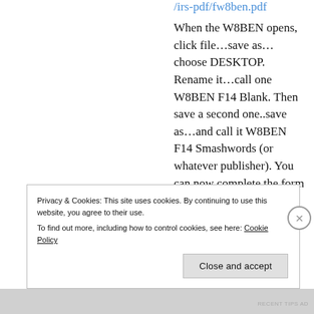/irs-pdf/fw8ben.pdf
When the W8BEN opens, click file...save as...choose DESKTOP. Rename it...call one W8BEN F14 Blank. Then save a second one..save as...and call it W8BEN F14 Smashwords (or whatever publisher). You can now complete the form on your
Privacy & Cookies: This site uses cookies. By continuing to use this website, you agree to their use. To find out more, including how to control cookies, see here: Cookie Policy
Close and accept